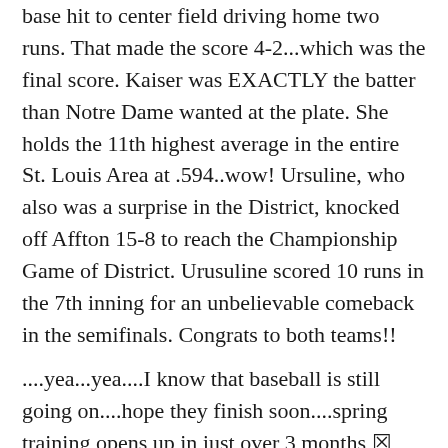base hit to center field driving home two runs. That made the score 4-2...which was the final score. Kaiser was EXACTLY the batter than Notre Dame wanted at the plate. She holds the 11th highest average in the entire St. Louis Area at .594..wow! Ursuline, who also was a surprise in the District, knocked off Affton 15-8 to reach the Championship Game of District. Urusuline scored 10 runs in the 7th inning for an unbelievable comeback in the semifinals. Congrats to both teams!!
....yea...yea....I know that baseball is still going on....hope they finish soon....spring training opens up in just over 3 months ☒ ....some random thoughts about the playoffs and players...
....Cards aren’t just chasing the Cubbies....the Brewers have assembled a good team.
....If I lived in Chicago and was a Cubs fan.. I would